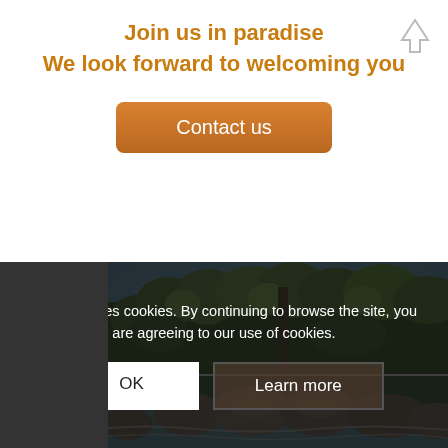Join us in paradise
We look forward to welcoming you
Contact us
[Figure (photo): Close-up of tropical green leaves against a bright sky]
[Figure (photo): River scene with large smooth boulders and flowing water surrounded by trees]
This site uses cookies. By continuing to browse the site, you are agreeing to our use of cookies.
OK
Learn more